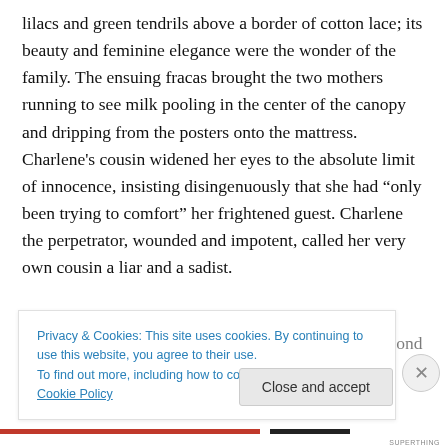lilacs and green tendrils above a border of cotton lace; its beauty and feminine elegance were the wonder of the family. The ensuing fracas brought the two mothers running to see milk pooling in the center of the canopy and dripping from the posters onto the mattress. Charlene's cousin widened her eyes to the absolute limit of innocence, insisting disingenuously that she had “only been trying to comfort” her frightened guest. Charlene the perpetrator, wounded and impotent, called her very own cousin a liar and a sadist.
Privacy & Cookies: This site uses cookies. By continuing to use this website, you agree to their use.
To find out more, including how to control cookies, see here: Cookie Policy